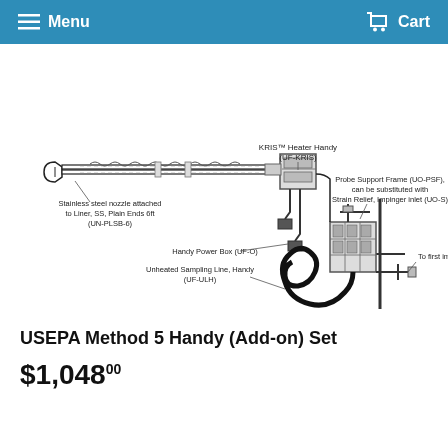Menu  Cart
[Figure (engineering-diagram): Technical diagram of USEPA Method 5 Handy (Add-on) Set showing components: KRIS™ Heater Handy (UF-KRIS), Probe Support Frame (UO-PSF) which can be substituted with Strain Relief, Impinger inlet (UO-S), Stainless steel nozzle attached to Liner, SS, Plain Ends 6ft (UN-PLSB-6), Handy Power Box (UF-O), Unheated Sampling Line, Handy (UF-ULH), and connection to first impinger.]
USEPA Method 5 Handy (Add-on) Set
$1,048  